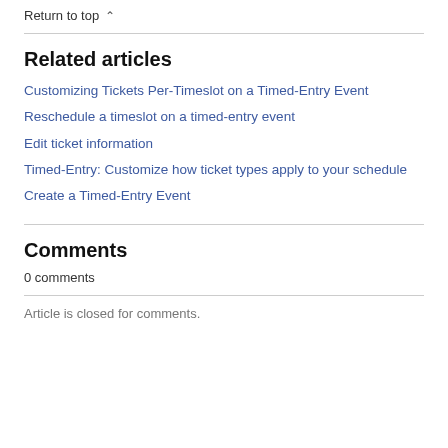Return to top ^
Related articles
Customizing Tickets Per-Timeslot on a Timed-Entry Event
Reschedule a timeslot on a timed-entry event
Edit ticket information
Timed-Entry: Customize how ticket types apply to your schedule
Create a Timed-Entry Event
Comments
0 comments
Article is closed for comments.